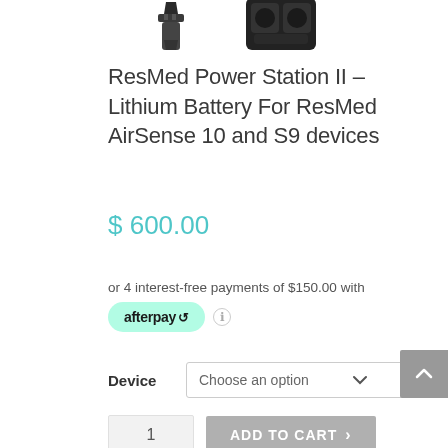[Figure (photo): Partial product images of ResMed Power Station II and related device at top of page, cropped]
ResMed Power Station II – Lithium Battery For ResMed AirSense 10 and S9 devices
$ 600.00
or 4 interest-free payments of $150.00 with
[Figure (logo): Afterpay logo badge in mint green rounded rectangle with info icon]
Device
Choose an option
1
ADD TO CART >